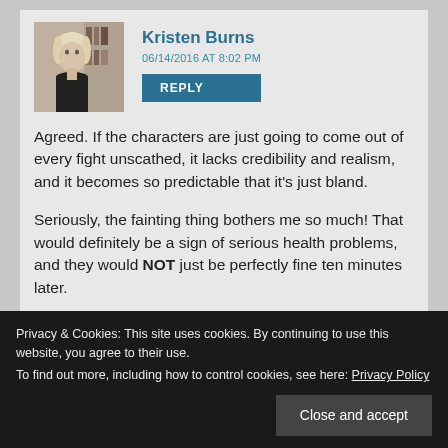[Figure (photo): Profile photo of Kristen Burns, a woman with blonde hair]
Kristen Burns
06/14/2016 AT 8:02 PM
REPLY
Agreed. If the characters are just going to come out of every fight unscathed, it lacks credibility and realism, and it becomes so predictable that it's just bland.
Seriously, the fainting thing bothers me so much! That would definitely be a sign of serious health problems, and they would NOT just be perfectly fine ten minutes later.
Thanks!
Privacy & Cookies: This site uses cookies. By continuing to use this website, you agree to their use.
To find out more, including how to control cookies, see here: Privacy Policy
Close and accept